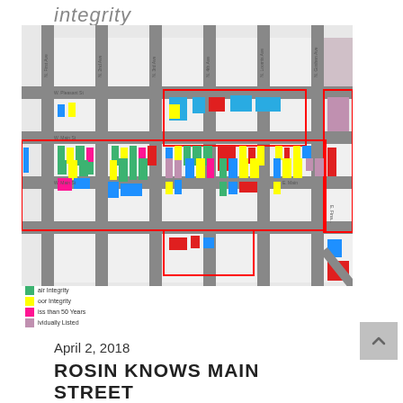integrity
[Figure (map): Color-coded urban block map showing building integrity categories for a main street district. Buildings colored by integrity level (good=blue/green, fair=yellow, poor=red/orange, less than 50 years=magenta/pink, individually listed=purple). Red outlines denote historic district boundaries. Street labels visible along axes.]
air Integrity
oor Integrity
iss than 50 Years
ividually Listed
April 2, 2018
ROSIN KNOWS MAIN STREET